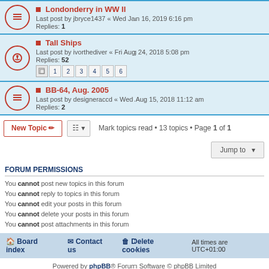Londonderry in WW II — Last post by jbryce1437 « Wed Jan 16, 2019 6:16 pm — Replies: 1
Tall Ships — Last post by ivorthediver « Fri Aug 24, 2018 5:08 pm — Replies: 52 — Pages: 1 2 3 4 5 6
BB-64, Aug. 2005 — Last post by designeraccd « Wed Aug 15, 2018 11:12 am — Replies: 2
Mark topics read • 13 topics • Page 1 of 1
FORUM PERMISSIONS
You cannot post new topics in this forum
You cannot reply to topics in this forum
You cannot edit your posts in this forum
You cannot delete your posts in this forum
You cannot post attachments in this forum
Board index   Contact us   Delete cookies   All times are UTC+01:00
Powered by phpBB® Forum Software © phpBB Limited
Privacy | Terms